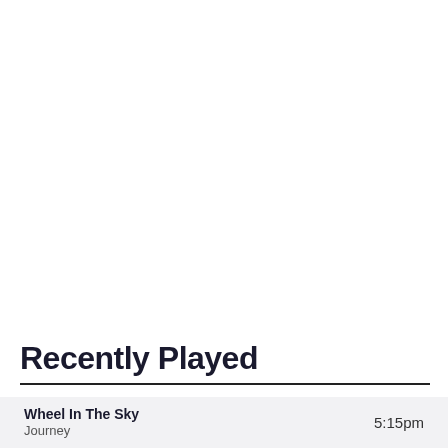Recently Played
Wheel In The Sky
Journey
5:15pm